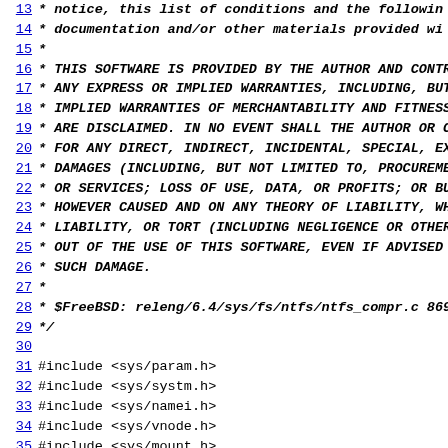Source code listing: ntfs_compr.c lines 13-44
13  *      notice, this list of conditions and the followin
14  *      documentation and/or other materials provided wi
15  *
16  * THIS SOFTWARE IS PROVIDED BY THE AUTHOR AND CONTRIB
17  * ANY EXPRESS OR IMPLIED WARRANTIES, INCLUDING, BUT N
18  * IMPLIED WARRANTIES OF MERCHANTABILITY AND FITNESS F
19  * ARE DISCLAIMED.  IN NO EVENT SHALL THE AUTHOR OR CO
20  * FOR ANY DIRECT, INDIRECT, INCIDENTAL, SPECIAL, EXEM
21  * DAMAGES (INCLUDING, BUT NOT LIMITED TO, PROCUREMENT
22  * OR SERVICES; LOSS OF USE, DATA, OR PROFITS; OR BUSI
23  * HOWEVER CAUSED AND ON ANY THEORY OF LIABILITY, WHET
24  * LIABILITY, OR TORT (INCLUDING NEGLIGENCE OR OTHERWI
25  * OUT OF THE USE OF THIS SOFTWARE, EVEN IF ADVISED OF
26  * SUCH DAMAGE.
27  *
28  * $FreeBSD: releng/6.4/sys/fs/ntfs/ntfs_compr.c 86927
29  */
30
31 #include <sys/param.h>
32 #include <sys/systm.h>
33 #include <sys/namei.h>
34 #include <sys/vnode.h>
35 #include <sys/mount.h>
36 #include <sys/file.h>
37
38 #include <fs/ntfs/ntfs.h>
39 #include <fs/ntfs/ntfs_compr.h>
40
41 #define GET_UINT16(addr)        (*((u_int16_t *)(addr
42
43 int
44 ntfs_uncompblock(